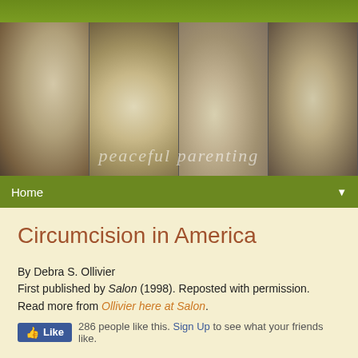[Figure (photo): Website header banner for 'peaceful parenting' blog. Green strip at top, four sepia-toned panels showing close-up baby/pregnancy photos. Watermark text reads 'peaceful parenting' across photos.]
Home ▼
Circumcision in America
By Debra S. Ollivier
First published by Salon (1998). Reposted with permission.
Read more from Ollivier here at Salon.
286 people like this. Sign Up to see what your friends like.